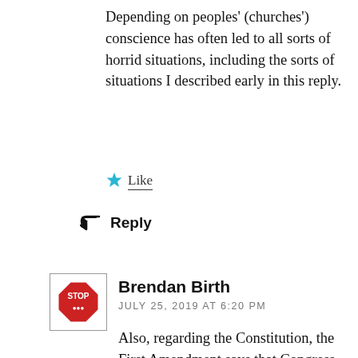Depending on peoples' (churches') conscience has often led to all sorts of horrid situations, including the sorts of situations I described early in this reply.
Like
Reply
Brendan Birth
JULY 25, 2019 AT 6:20 PM
Also, regarding the Constitution, the First Amendment says that Congress should not pass a law prohibiting the free exercise of religion. Unless there is a religion that says that people with disabilities should be specifically excluded from worship, having some or all of the ADA apply to churches is not, in my assessment